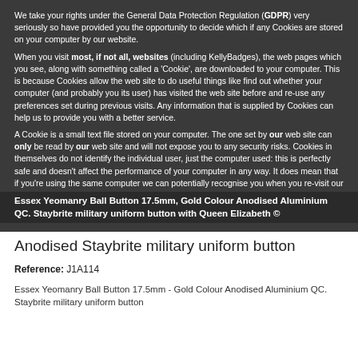We take your rights under the General Data Protection Regulation (GDPR) very seriously so have provided you the opportunity to decide which if any Cookies are stored on your computer by our website.
When you visit most, if not all, websites (including KellyBadges), the web pages which you see, along with something called a 'Cookie', are downloaded to your computer. This is because Cookies allow the web site to do useful things like find out whether your computer (and probably you its user) has visited the web site before and re-use any preferences set during previous visits. Any information that is supplied by Cookies can help us to provide you with a better service.
A Cookie is a small text file stored on your computer. The one set by our web site can only be read by our web site and will not expose you to any security risks. Cookies in themselves do not identify the individual user, just the computer used: this is perfectly safe and doesn't affect the performance of your computer in any way. It does mean that if you're using the same computer we can potentially recognise you when you re-visit our
Essex Yeomanry Ball Button 17.5mm, Gold Colour Anodised Aluminium QC. Staybrite military uniform button with Queen Elizabeth ©
Anodised Staybrite military uniform button
Reference: J1A114
Essex Yeomanry Ball Button 17.5mm - Gold Colour Anodised Aluminium QC. Staybrite military uniform button